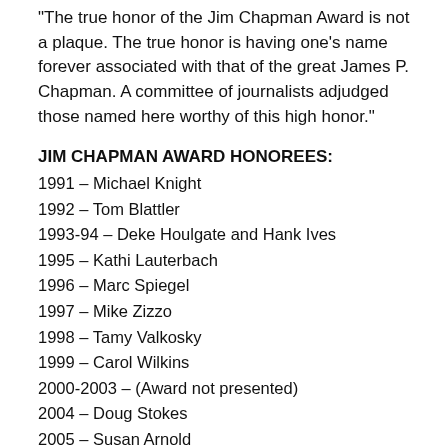“The true honor of the Jim Chapman Award is not a plaque. The true honor is having one’s name forever associated with that of the great James P. Chapman. A committee of journalists adjudged those named here worthy of this high honor.”
JIM CHAPMAN AWARD HONOREES:
1991 – Michael Knight
1992 – Tom Blattler
1993-94 – Deke Houlgate and Hank Ives
1995 – Kathi Lauterbach
1996 – Marc Spiegel
1997 – Mike Zizzo
1998 – Tamy Valkosky
1999 – Carol Wilkins
2000-2003 – (Award not presented)
2004 – Doug Stokes
2005 – Susan Arnold
2006 – Kevin Kennedy